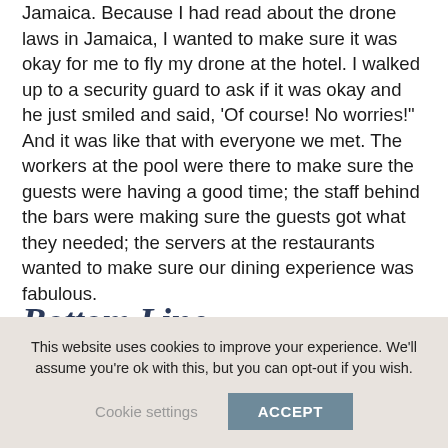Jamaica. Because I had read about the drone laws in Jamaica, I wanted to make sure it was okay for me to fly my drone at the hotel. I walked up to a security guard to ask if it was okay and he just smiled and said, 'Of course!  No worries!' And it was like that with everyone we met.  The workers at the pool were there to make sure the guests were having a good time; the staff behind the bars were making sure the guests got what they needed; the servers at the restaurants wanted to make sure our dining experience was fabulous.
Bottom Line
This website uses cookies to improve your experience. We'll assume you're ok with this, but you can opt-out if you wish.